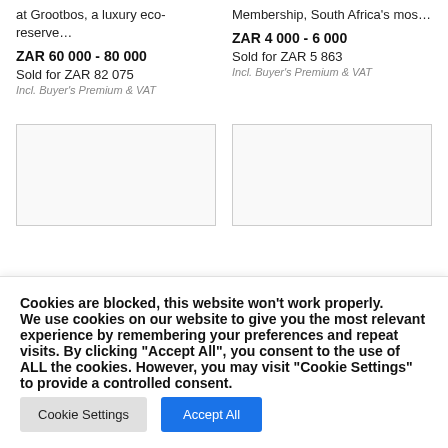at Grootbos, a luxury eco-reserve…
Membership, South Africa's mos…
ZAR 60 000 - 80 000
ZAR 4 000 - 6 000
Sold for ZAR 82 075
Sold for ZAR 5 863
Incl. Buyer's Premium & VAT
Incl. Buyer's Premium & VAT
[Figure (other): Placeholder image box left]
[Figure (other): Placeholder image box right]
Cookies are blocked, this website won't work properly. We use cookies on our website to give you the most relevant experience by remembering your preferences and repeat visits. By clicking "Accept All", you consent to the use of ALL the cookies. However, you may visit "Cookie Settings" to provide a controlled consent.